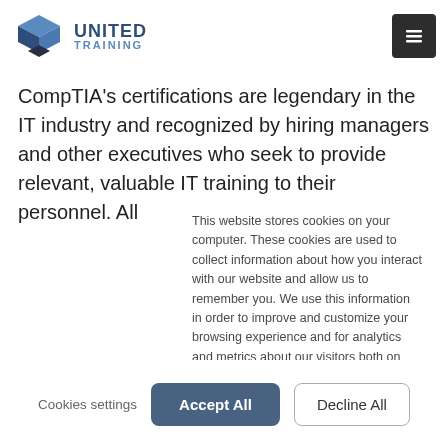[Figure (logo): United Training logo with blue cube icon and company name]
CompTIA's certifications are legendary in the IT industry and recognized by hiring managers and other executives who seek to provide relevant, valuable IT training to their personnel. All
This website stores cookies on your computer. These cookies are used to collect information about how you interact with our website and allow us to remember you. We use this information in order to improve and customize your browsing experience and for analytics and metrics about our visitors both on this website and other media. To find out more about the cookies we use, see our Privacy Policy
If you decline, your information won't be tracked when you visit this website. A single cookie will be used in your browser to remember your preference not to be tracked.
Cookies settings
Accept All
Decline All